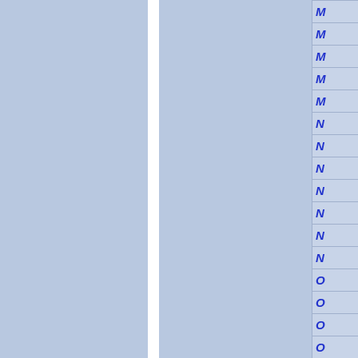[Figure (screenshot): Navigation index panel showing two blue-tinted columns on the left separated by a white divider, and a right-side index column with alphabetical navigation entries starting with M and C letters in italic bold blue text on a light steel-blue background. Visible entries include rows beginning with M (approximately 12 rows) followed by rows beginning with C (approximately 3-4 rows visible).]